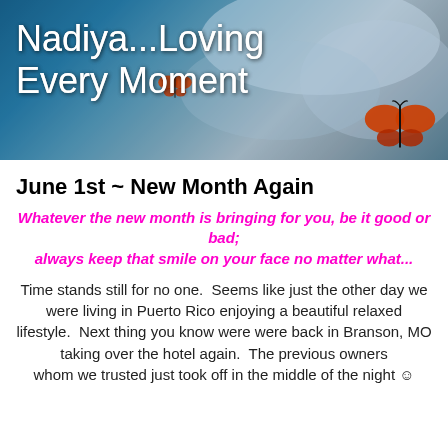[Figure (photo): Blog header banner with a nature/sky background featuring butterflies and soft blue tones]
Nadiya...Loving Every Moment
June 1st ~ New Month Again
Whatever the new month is bringing for you, be it good or bad; always keep that smile on your face no matter what...
Time stands still for no one.  Seems like just the other day we were living in Puerto Rico enjoying a beautiful relaxed lifestyle.  Next thing you know were were back in Branson, MO taking over the hotel again.  The previous owners whom we trusted just took off in the middle of the night ☺